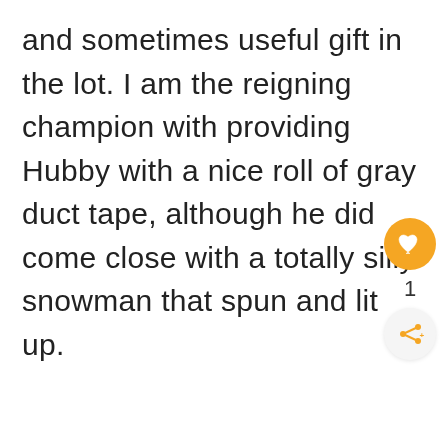and sometimes useful gift in the lot. I am the reigning champion with providing Hubby with a nice roll of gray duct tape, although he did come close with a totally silly snowman that spun and lit up.
[Figure (infographic): Orange circular heart/like button icon with a count of 1 below it, and a share button (circle with share icon) below that — a social interaction UI widget.]